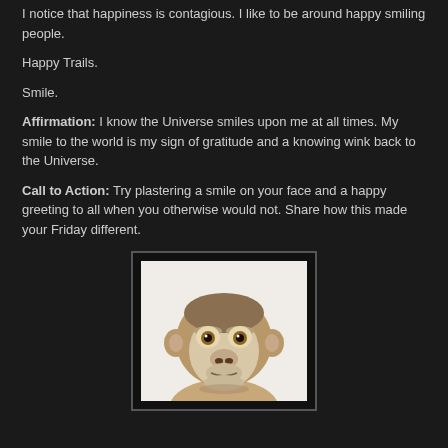I notice that happiness is contagious. I like to be around happy smiling people.
Happy Trails.
Smile.
Affirmation: I know the Universe smiles upon me at all times. My smile to the world is my sign of gratitude and a knowing wink back to the Universe.
Call to Action: Try plastering a smile on your face and a happy greeting to all when you otherwise would not. Share how this made your Friday different.
[Figure (photo): Close-up photo of a young monkey with wide brown eyes, light-colored fur around face, looking directly at the camera with a somewhat serious expression]